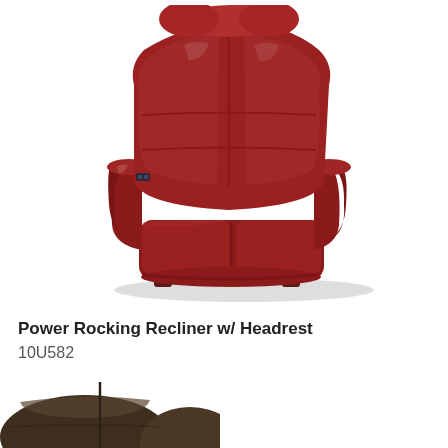[Figure (photo): A dark maroon/wine-colored leather power rocking recliner with headrest, shown at a slight angle. The chair has tufted cushioning on the seat, back, and armrests. A power control button is visible on the left side.]
Power Rocking Recliner w/ Headrest
10U582
[Figure (photo): Partial view of a dark brown fabric recliner chair, showing the lower cushion portion.]